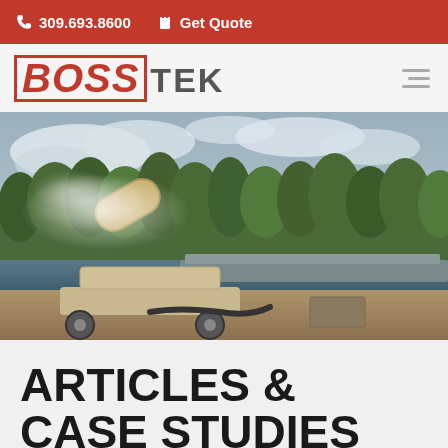309.693.8600  Get Quote
[Figure (logo): BossTek company logo — BOSS in red italic with border, TEK in gray bold]
[Figure (photo): Industrial dust cannon/mist cannon spraying water mist on a dock by a river with green trees in background and barge visible]
ARTICLES & CASE STUDIES